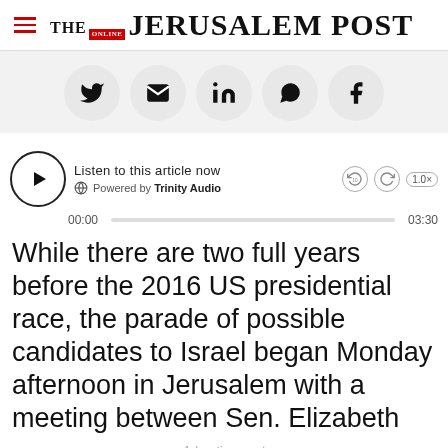THE JERUSALEM POST
[Figure (other): Social sharing buttons row: Twitter, Email, LinkedIn, WhatsApp, Facebook]
[Figure (other): Audio player widget: Listen to this article now, Powered by Trinity Audio, 00:00 / 03:30]
While there are two full years before the 2016 US presidential race, the parade of possible candidates to Israel began Monday afternoon in Jerusalem with a meeting between Sen. Elizabeth
Advertisement